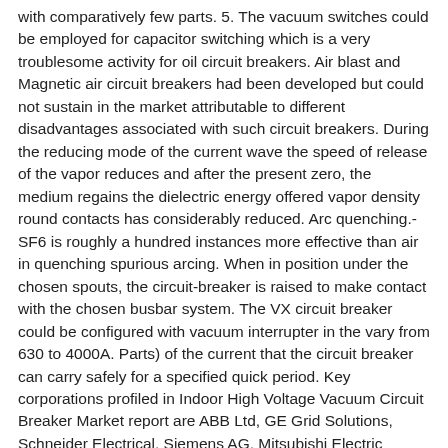with comparatively few parts. 5. The vacuum switches could be employed for capacitor switching which is a very troublesome activity for oil circuit breakers. Air blast and Magnetic air circuit breakers had been developed but could not sustain in the market attributable to different disadvantages associated with such circuit breakers. During the reducing mode of the current wave the speed of release of the vapor reduces and after the present zero, the medium regains the dielectric energy offered vapor density round contacts has considerably reduced. Arc quenching.- SF6 is roughly a hundred instances more effective than air in quenching spurious arcing. When in position under the chosen spouts, the circuit-breaker is raised to make contact with the chosen busbar system. The VX circuit breaker could be configured with vacuum interrupter in the vary from 630 to 4000A. Parts) of the current that the circuit breaker can carry safely for a specified quick period. Key corporations profiled in Indoor High Voltage Vacuum Circuit Breaker Market report are ABB Ltd, GE Grid Solutions, Schneider Electrical, Siemens AG, Mitsubishi Electric Corporation, Hitachi, Eaton Corporation, Toshiba Corp., Huayi Electrical, People Electrical Appliance Group, China XD Group, Shanghai Delixi